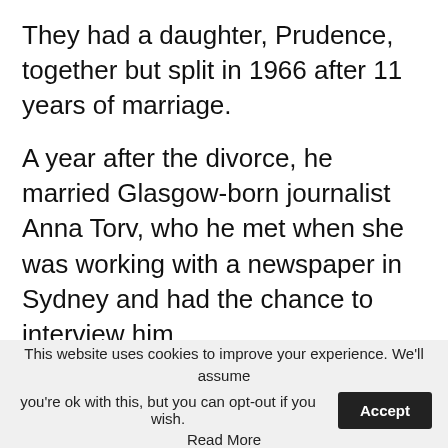They had a daughter, Prudence, together but split in 1966 after 11 years of marriage.
A year after the divorce, he married Glasgow-born journalist Anna Torv, who he met when she was working with a newspaper in Sydney and had the chance to interview him.
The couple had three children together and were married for more than 30 years before ending their relationship in 1999. Details are sparse but it has been reported that the divorce cost him
This website uses cookies to improve your experience. We'll assume you're ok with this, but you can opt-out if you wish. Accept Read More